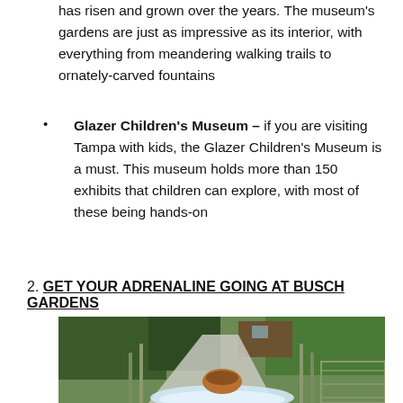has risen and grown over the years. The museum's gardens are just as impressive as its interior, with everything from meandering walking trails to ornately-carved fountains
Glazer Children's Museum – if you are visiting Tampa with kids, the Glazer Children's Museum is a must. This museum holds more than 150 exhibits that children can explore, with most of these being hands-on
2. GET YOUR ADRENALINE GOING AT BUSCH GARDENS
[Figure (photo): A water ride at Busch Gardens showing a log-flume style boat splashing down with lush green tropical foliage in the background and wooden railings flanking the slide.]